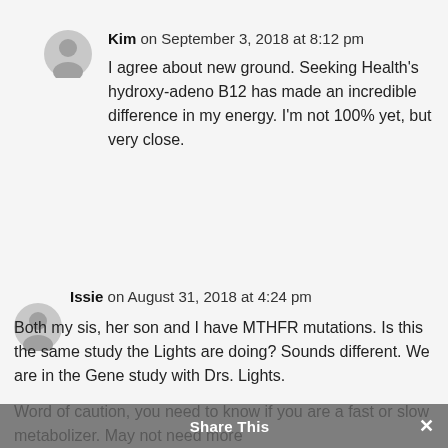Kim on September 3, 2018 at 8:12 pm
I agree about new ground. Seeking Health's hydroxy-adeno B12 has made an incredible difference in my energy. I'm not 100% yet, but very close.
Issie on August 31, 2018 at 4:24 pm
Both my sis, her son and I have MTHFR mutations. Is this the same study the Lights are doing? Sounds different. We are in the Gene study with Drs. Lights.

Word of caution, you need to know if you are a fast or slow metabolizer. May not need more
Share This